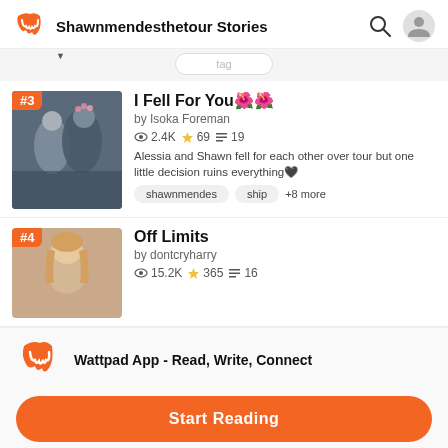Shawnmendesthetour Stories
I Fell For You🌺🌺 by Isoka Foreman · 2.4K ★69 ≡19 · Alessia and Shawn fell for each other over tour but one little decision ruins everything🖤 · tags: shawnmendes, ship, +8 more
Off Limits by dontcryharry · 15.2K ★365 ≡16
Wattpad App - Read, Write, Connect
Start Reading
Log in with Browser